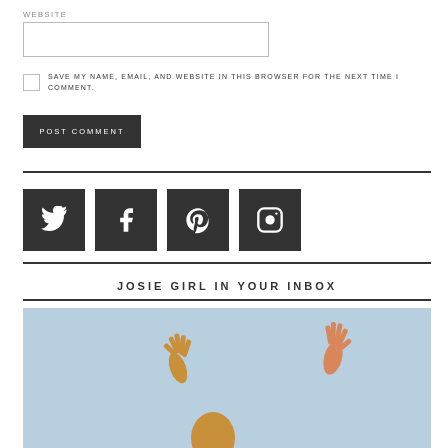WEBSITE
[Figure (screenshot): Website text input field (empty)]
SAVE MY NAME, EMAIL, AND WEBSITE IN THIS BROWSER FOR THE NEXT TIME I COMMENT.
POST COMMENT
[Figure (infographic): Social media icons: Twitter, Facebook, Pinterest, Instagram]
JOSIE GIRL IN YOUR INBOX
[Figure (photo): Photo showing a person with hands raised against a sky background]